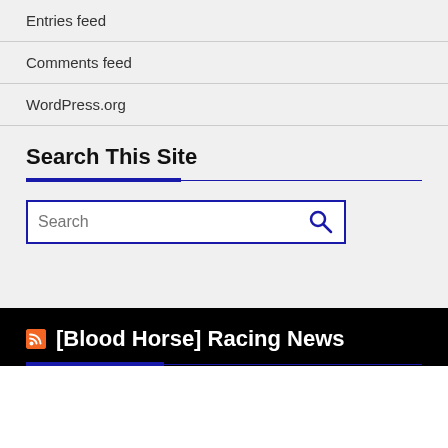Entries feed
Comments feed
WordPress.org
Search This Site
[Figure (screenshot): Search input box with magnifying glass icon and blue border]
[Blood Horse] Racing News